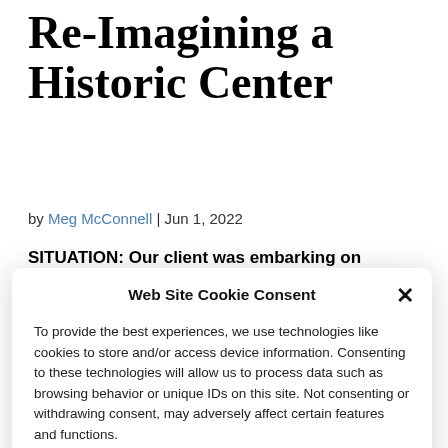Re-Imagining a Historic Center
by Meg McConnell | Jun 1, 2022
SITUATION: Our client was embarking on
Web Site Cookie Consent
To provide the best experiences, we use technologies like cookies to store and/or access device information. Consenting to these technologies will allow us to process data such as browsing behavior or unique IDs on this site. Not consenting or withdrawing consent, may adversely affect certain features and functions.
ACCEPT
Cookies  Privacy Policy